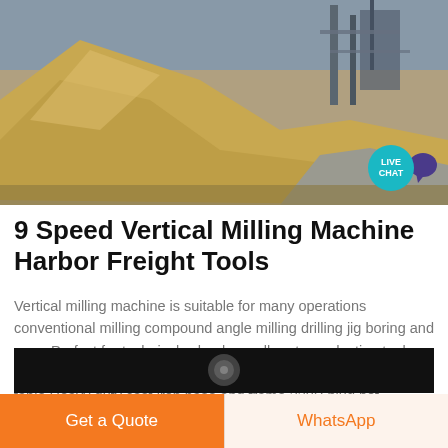[Figure (photo): Aerial/ground view of large sand/gravel mounds at a mining or quarrying site, with industrial equipment visible in the background. A 'Live Chat' teal bubble with speech icon is overlaid in the bottom-right corner.]
9 Speed Vertical Milling Machine Harbor Freight Tools
Vertical milling machine is suitable for many operations conventional milling compound angle milling drilling jig boring and more Perfect for technical schools small parts production tool rooms and maintenance shops Precision machined and ground table Heavy duty cast iron base and frame 220V plug not included Head tilts 45° left or ...
[Figure (photo): Partial view of a machine or video thumbnail, dark background with a circular element visible.]